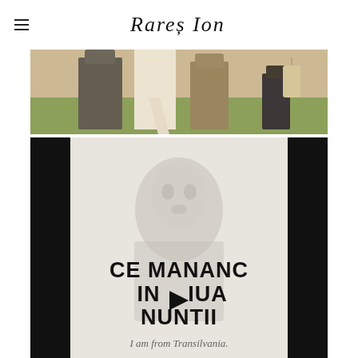Rareș Ion
[Figure (photo): Wedding photo showing people standing outdoors on grass, woman in white dress visible from waist down, men in suits, warm sunlit scene]
[Figure (screenshot): Video thumbnail with dark background showing a face faintly visible, bold text overlay reading CE MANANC IN ZIUA NUNTII with a play button in the center, and italic text at bottom reading I am from Transilvania.]